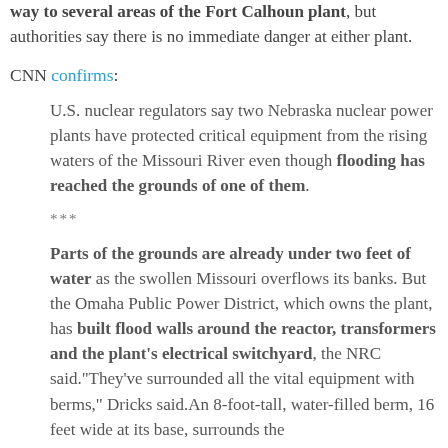way to several areas of the Fort Calhoun plant, but authorities say there is no immediate danger at either plant.
CNN confirms:
U.S. nuclear regulators say two Nebraska nuclear power plants have protected critical equipment from the rising waters of the Missouri River even though flooding has reached the grounds of one of them.
***
Parts of the grounds are already under two feet of water as the swollen Missouri overflows its banks. But the Omaha Public Power District, which owns the plant, has built flood walls around the reactor, transformers and the plant's electrical switchyard, the NRC said."They've surrounded all the vital equipment with berms," Dricks said.An 8-foot-tall, water-filled berm, 16 feet wide at its base, surrounds the